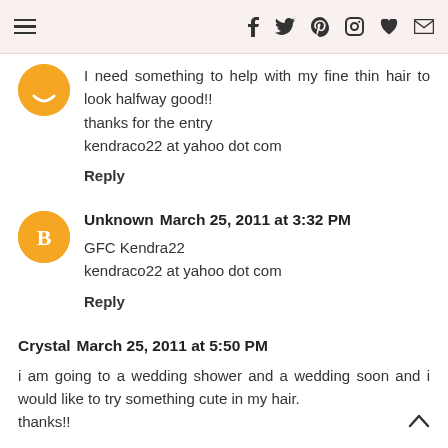Navigation menu and social icons (f, twitter, pinterest, instagram, heart, envelope)
I need something to help with my fine thin hair to look halfway good!!
thanks for the entry
kendraco22 at yahoo dot com
Reply
Unknown  March 25, 2011 at 3:32 PM
GFC Kendra22
kendraco22 at yahoo dot com
Reply
Crystal  March 25, 2011 at 5:50 PM
i am going to a wedding shower and a wedding soon and i would like to try something cute in my hair.
thanks!!

cyclona66 at aol dot com